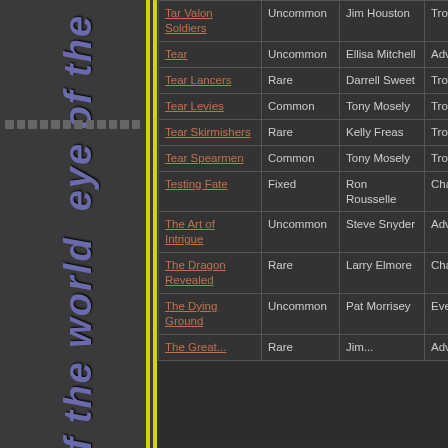| Card Name | Rarity | Artist | Type | Set |
| --- | --- | --- | --- | --- |
| Tar Valon Soldiers | Uncommon | Jim Houston | Troop | Aes Sed... |
| Tear | Uncommon | Ellisa Mitchell | Advantage | World |
| Tear Lancers | Rare | Darrell Sweet | Troop | Tear |
| Tear Levies | Common | Tony Mosely | Troop | Tear |
| Tear Skirmishers | Rare | Kelly Freas | Troop | Tear |
| Tear Spearmen | Common | Tony Mosely | Troop | Tear |
| Testing Fate | Fixed | Ron Rousselle | Challenge |  |
| The Art of Intrigue | Uncommon | Steve Snyder | Advantage | Charact... |
| The Dragon Revealed | Rare | Larry Elmore | Character | Dragon |
| The Dying Ground | Uncommon | Pat Morrisey | Event |  |
| The Great... | Rare | Jim... | Advantage | Pl... |